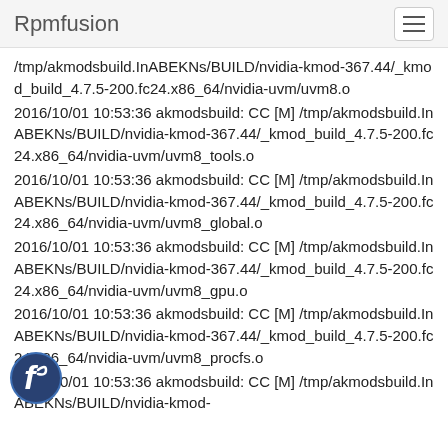Rpmfusion
/tmp/akmodsbuild.InABEKNs/BUILD/nvidia-kmod-367.44/_kmod_build_4.7.5-200.fc24.x86_64/nvidia-uvm/uvm8.o
2016/10/01 10:53:36 akmodsbuild: CC [M] /tmp/akmodsbuild.InABEKNs/BUILD/nvidia-kmod-367.44/_kmod_build_4.7.5-200.fc24.x86_64/nvidia-uvm/uvm8_tools.o
2016/10/01 10:53:36 akmodsbuild: CC [M] /tmp/akmodsbuild.InABEKNs/BUILD/nvidia-kmod-367.44/_kmod_build_4.7.5-200.fc24.x86_64/nvidia-uvm/uvm8_global.o
2016/10/01 10:53:36 akmodsbuild: CC [M] /tmp/akmodsbuild.InABEKNs/BUILD/nvidia-kmod-367.44/_kmod_build_4.7.5-200.fc24.x86_64/nvidia-uvm/uvm8_gpu.o
2016/10/01 10:53:36 akmodsbuild: CC [M] /tmp/akmodsbuild.InABEKNs/BUILD/nvidia-kmod-367.44/_kmod_build_4.7.5-200.fc24.x86_64/nvidia-uvm/uvm8_procfs.o
2016/10/01 10:53:36 akmodsbuild: CC [M] /tmp/akmodsbuild.InABEKNs/BUILD/nvidia-kmod-
[Figure (logo): Fedora logo — blue circular icon with stylized 'f' mark, bottom-left corner]